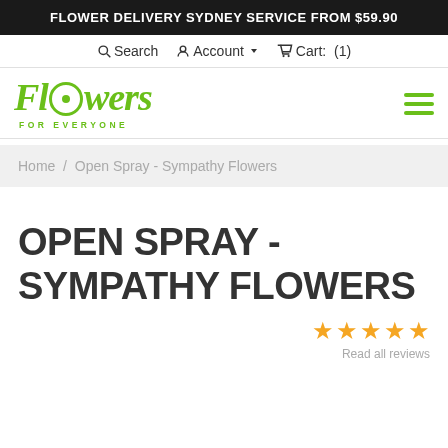FLOWER DELIVERY SYDNEY SERVICE FROM $59.90
Search  Account  Cart: (1)
[Figure (logo): Flowers For Everyone logo in green italic script with hamburger menu icon]
Home / Open Spray - Sympathy Flowers
OPEN SPRAY - SYMPATHY FLOWERS
★★★★★ Read all reviews